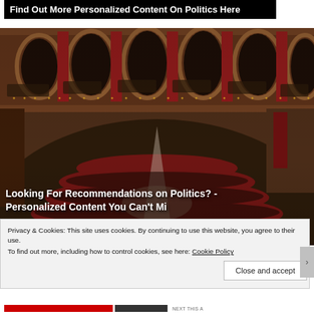Find Out More Personalized Content On Politics Here
[Figure (photo): Aerial/elevated view of a grand parliamentary chamber with red upholstered seats arranged in a semicircle, ornate arched balconies with columns, packed with people during a session]
Looking For Recommendations on Politics? - Personalized Content You Can't Miss
Privacy & Cookies: This site uses cookies. By continuing to use this website, you agree to their use.
To find out more, including how to control cookies, see here: Cookie Policy
Close and accept